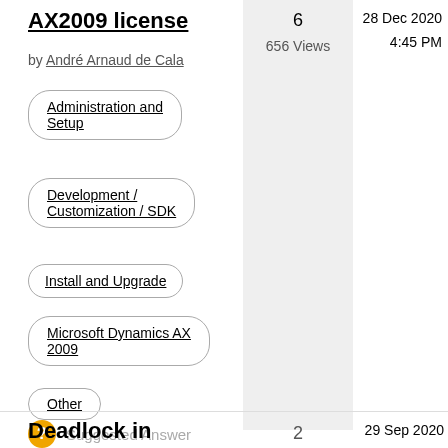AX2009 license
by André Arnaud de Cala
Administration and Setup
Development / Customization / SDK
Install and Upgrade
Microsoft Dynamics AX 2009
Other
Suggested Answer
6
656 Views
28 Dec 2020
4:45 PM
Deadlock in
29 Sep 2020